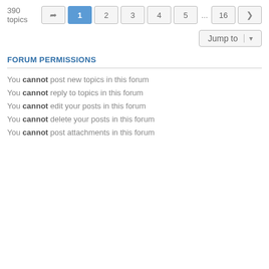390 topics  1 2 3 4 5 ... 16 >
Jump to
FORUM PERMISSIONS
You cannot post new topics in this forum
You cannot reply to topics in this forum
You cannot edit your posts in this forum
You cannot delete your posts in this forum
You cannot post attachments in this forum